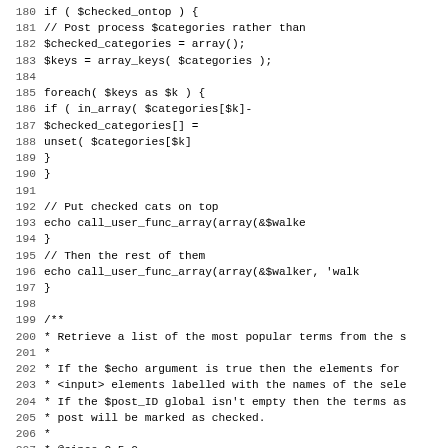[Figure (screenshot): Source code listing in PHP showing lines 180-211. Lines 180-197 show an if block checking $checked_ontop with foreach loop processing categories. Lines 199-211 show a PHPDoc comment block for a function that retrieves popular terms.]